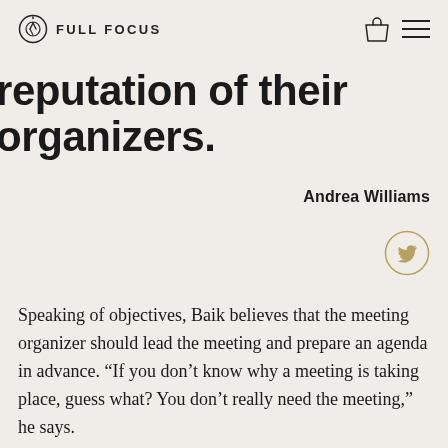FULL FOCUS
reputation of their organizers.
Andrea Williams
[Figure (illustration): Twitter bird icon inside a circle, gold/tan colored]
Speaking of objectives, Baik believes that the meeting organizer should lead the meeting and prepare an agenda in advance. “If you don’t know why a meeting is taking place, guess what? You don’t really need the meeting,” he says.